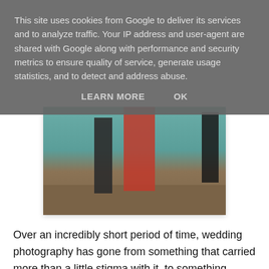This site uses cookies from Google to deliver its services and to analyze traffic. Your IP address and user-agent are shared with Google along with performance and security metrics to ensure quality of service, generate usage statistics, and to detect and address abuse.
LEARN MORE   OK
[Figure (photo): Partial view of people standing, one in a red outfit, in front of a teal/turquoise wall, on a brick or stone ground.]
Over an incredibly short period of time, wedding photography has gone from something that carried more than a little stigma with it, to something genuinely beautiful.
There is an incredible freedom, on the one hand coming from the photographers and filmmakers, and on the other from couples casting off the constraints